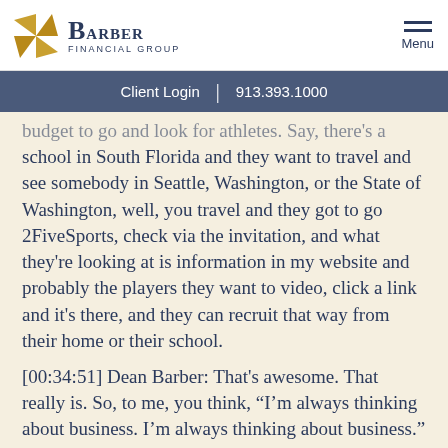Barber Financial Group
Client Login | 913.393.1000
budget to go and look for athletes. Say, there's a school in South Florida and they want to travel and see somebody in Seattle, Washington, or the State of Washington, well, you travel and they got to go 2FiveSports, check via the invitation, and what they're looking at is information in my website and probably the players they want to video, click a link and it's there, and they can recruit that way from their home or their school.
[00:34:51] Dean Barber: That's awesome. That really is. So, to me, you think, “I'm always thinking about business. I'm always thinking about business.” You're coaching these young athletes but you're doing more than that. You're